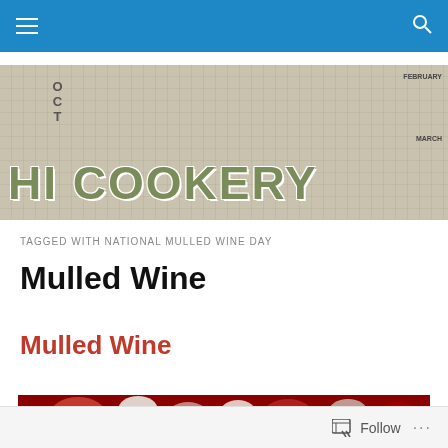Navigation bar with menu and search icons
[Figure (illustration): HI COOKERY blog banner with calendar background and large green bold text reading HI COOKERY]
TAGGED WITH NATIONAL MULLED WINE DAY
Mulled Wine
Mulled Wine
[Figure (photo): Partial photo of mulled wine ingredients including red fruits and flowers]
Follow ...